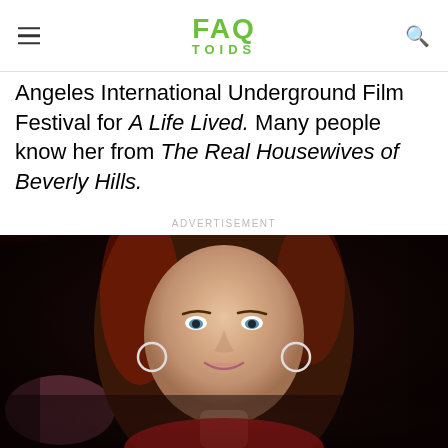FAQ TOIDS
Angeles International Underground Film Festival for A Life Lived. Many people know her from The Real Housewives of Beverly Hills.
ADVERTISEMENT
[Figure (photo): Portrait photo of a woman with long wavy brown hair with red highlights, wearing hoop earrings and a red dress, smiling against a dark background.]